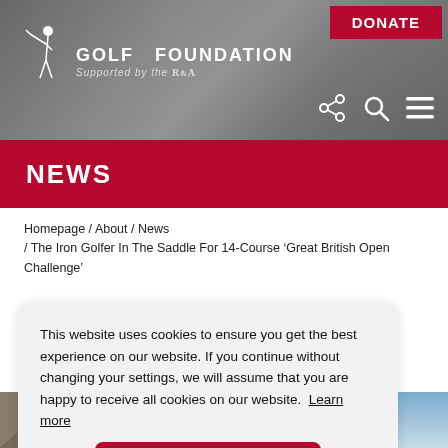Golf Foundation — Supported by the R&A
NEWS
Homepage / About / News / The Iron Golfer In The Saddle For 14-Course ‘Great British Open Challenge’
This website uses cookies to ensure you get the best experience on our website. If you continue without changing your settings, we will assume that you are happy to receive all cookies on our website. Learn more
[Figure (photo): Mountain landscape photo with blue sky, partially visible at bottom of page]
[Figure (photo): Golfer in action, partially visible at bottom right corner]